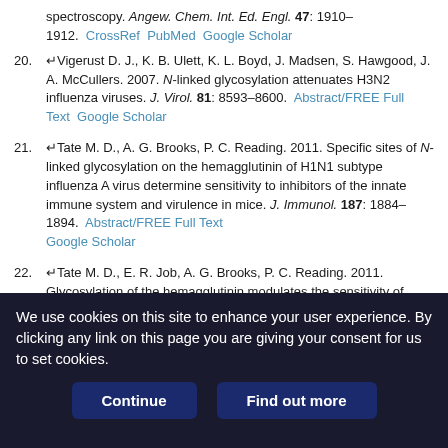spectroscopy. Angew. Chem. Int. Ed. Engl. 47: 1910–1912. CrossRef PubMed Google Scholar
20. Vigerust D. J., K. B. Ulett, K. L. Boyd, J. Madsen, S. Hawgood, J. A. McCullers. 2007. N-linked glycosylation attenuates H3N2 influenza viruses. J. Virol. 81: 8593–8600. Abstract/FREE Full Text Google Scholar
21. Tate M. D., A. G. Brooks, P. C. Reading. 2011. Specific sites of N-linked glycosylation on the hemagglutinin of H1N1 subtype influenza A virus determine sensitivity to inhibitors of the innate immune system and virulence in mice. J. Immunol. 187: 1884–1894. Abstract/FREE Full Text Google Scholar
22. Tate M. D., E. R. Job, A. G. Brooks, P. C. Reading. 2011. Glycosylation of the hemagglutinin modulates the sensitivity of H3N2 influenza viruses to innate proteins in airway secretions and virulence in mice. Virology 413: 84–92. CrossRef PubMed Google Scholar
We use cookies on this site to enhance your user experience. By clicking any link on this page you are giving your consent for us to set cookies.